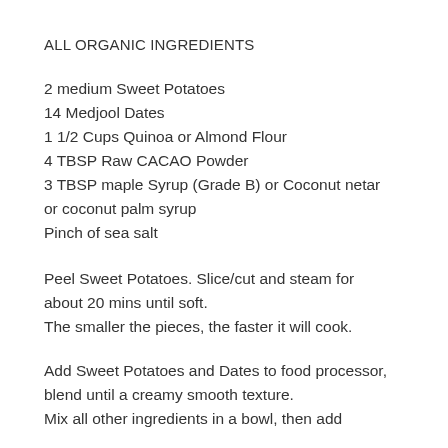ALL ORGANIC INGREDIENTS
2 medium Sweet Potatoes
14 Medjool Dates
1 1/2 Cups Quinoa or Almond Flour
4 TBSP Raw CACAO Powder
3 TBSP maple Syrup (Grade B) or Coconut netar or coconut palm syrup
Pinch of sea salt
Peel Sweet Potatoes. Slice/cut and steam for about 20 mins until soft.
The smaller the pieces, the faster it will cook.
Add Sweet Potatoes and Dates to food processor, blend until a creamy smooth texture.
Mix all other ingredients in a bowl, then add